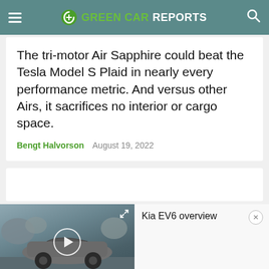GREEN CAR REPORTS
The tri-motor Air Sapphire could beat the Tesla Model S Plaid in nearly every performance metric. And versus other Airs, it sacrifices no interior or cargo space.
Bengt Halvorson   August 19, 2022
[Figure (screenshot): Video player showing Kia EV6 overview with a gray Kia EV6 car thumbnail on the left and video title 'Kia EV6 overview' on the right panel]